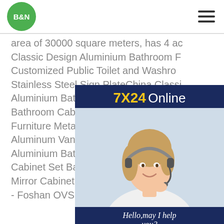B&N [logo] [hamburger menu]
area of 30000 square meters, has 4 ac Classic Design Aluminium Bathroom F Customized Public Toilet and Washro Stainless Steel Sign PlateChina Classi Aluminium Bathroom Furniture Vanity C Bathroom Cabinet Bathroom Mirror Ca Furniture Metal Cabinet, Find details a Aluminum Vanity, Vanity from Classic Design Aluminium Bathroom Furniture Vanity Cabinet Set Bathroom Cabinet Bathroom Mirror Cabinet Home Furniture Metal Cabinet - Foshan OVS Sanitary Ware
[Figure (illustration): Customer support chat widget with dark navy blue background, showing '7X24 Online' header in yellow and white text, a photo of a smiling woman with a headset, italic text 'Hello, may I help you?' and a yellow 'Get Latest Price' button.]